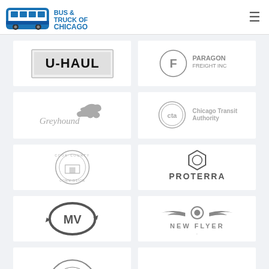[Figure (logo): Bus & Truck of Chicago logo with blue bus illustration and bold text]
[Figure (logo): U-Haul logo in black on grey/white background with box border]
[Figure (logo): Paragon Freight Inc logo with circle F emblem]
[Figure (logo): Greyhound logo with running greyhound dog silhouette in italic script]
[Figure (logo): CTA Chicago Transit Authority logo with circle cta badge]
[Figure (logo): Cook County Commission circular seal logo]
[Figure (logo): Proterra logo with hexagon icon above PROTERRA text]
[Figure (logo): MV Transportation logo with circular arrow M V emblem]
[Figure (logo): New Flyer logo with wings and circle emblem above NEW FLYER text]
[Figure (logo): Partially visible circular logo at bottom left]
[Figure (logo): Partially visible ComEd or similar logo at bottom right]